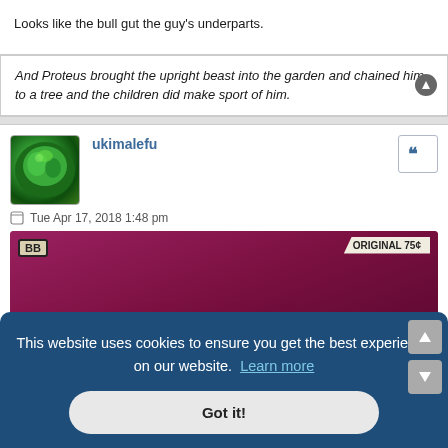Looks like the bull gut the guy's underparts.
And Proteus brought the upright beast into the garden and chained him to a tree and the children did make sport of him.
ukimalefu
Tue Apr 17, 2018 1:48 pm
[Figure (photo): Comic book cover with dark magenta/purple background, BB badge top left, 'ORIGINAL 75¢' label top right, large stylized letters partially visible]
This website uses cookies to ensure you get the best experience on our website. Learn more
Got it!